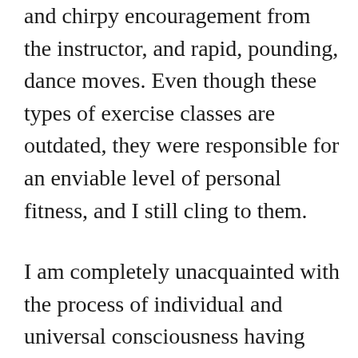and chirpy encouragement from the instructor, and rapid, pounding, dance moves. Even though these types of exercise classes are outdated, they were responsible for an enviable level of personal fitness, and I still cling to them.
I am completely unacquainted with the process of individual and universal consciousness having anything to do with my fitness level, so a question mark hovered above my head upon entering the yoga arena.
The music wafted eerily through the darkened room, which put me more in the mood for a